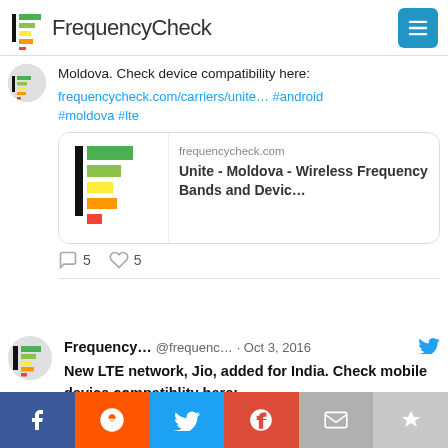FrequencyCheck
Moldova. Check device compatibility here: frequencycheck.com/carriers/unite… #android #moldova #lte
[Figure (screenshot): FrequencyCheck link card showing frequency band bars logo and text 'Unite - Moldova - Wireless Frequency Bands and Devic...' with domain frequencycheck.com]
5  5
Frequency... @frequenc... · Oct 3, 2016
New LTE network, Jio, added for India. Check mobile device compatiblity here:
frequencycheck.com/carriers/jio-i… #lte #android #india @reliancejio
f  reddit  twitter  G+  email  crown